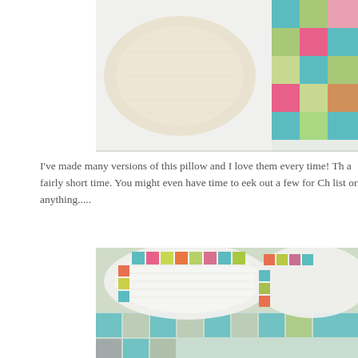[Figure (photo): Close-up photo of colorful patchwork quilted pillows with teal, green, pink, and floral fabric squares on a white quilted background, with a beige pillow in the center.]
I've made many versions of this pillow and I love them every time! Th... a fairly short time. You might even have time to eek out a few for Ch... list or anything.....
[Figure (photo): Close-up photo of two large white quilted pillows with colorful patchwork borders featuring teal, green, pink, orange, and floral fabric squares, resting on a patchwork quilt.]